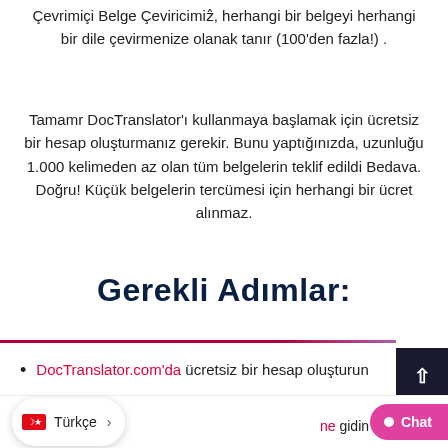Çevrimiçi Belge Çeviricimiẑ, herhangi bir belgeyi herhangi bir dile çevirmenize olanak tanır (100'den fazla!) .
Tamamr DocTranslator'ı kullanmaya başlamak için ücretsiz bir hesap oluşturmanız gerekir. Bunu yaptığınızda, uzunluğu 1.000 kelimeden az olan tüm belgelerin teklif edildi Bedava. Doğru! Küçük belgelerin tercümesi için herhangi bir ücret alınmaz.
Gerekli Adımlar:
DocTranslator.com'da ücretsiz bir hesap oluşturun
ne gidin ve dört basit adım